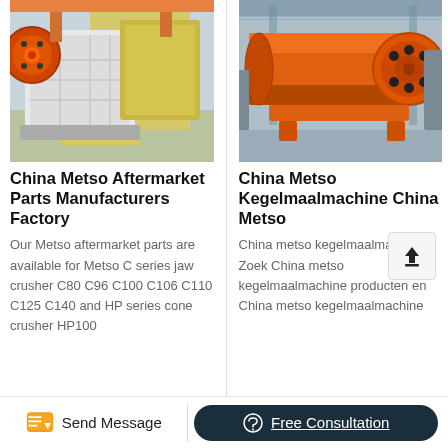[Figure (photo): White jaw crusher machine in a factory warehouse setting with orange flywheel]
China Metso Aftermarket Parts Manufacturers Factory
Our Metso aftermarket parts are available for Metso C series jaw crusher C80 C96 C100 C106 C110 C125 C140 and HP series cone crusher HP100
[Figure (photo): Large orange cylindrical rotary drum machine in a factory workshop]
China Metso Kegelmaalmachine China Metso
China metso kegelmaalmachine Zoek China metso kegelmaalmachine producten en China metso kegelmaalmachine
Send Message   Free Consultation